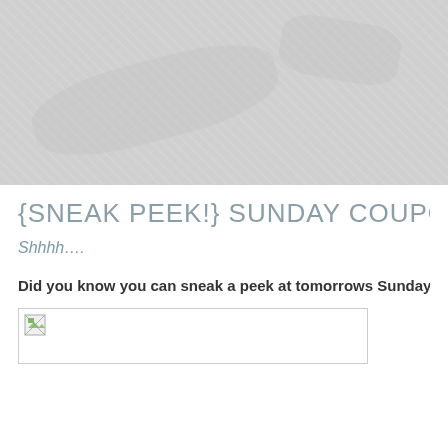[Figure (photo): Gray textured header background image with mottled light gray pattern]
{SNEAK PEEK!} SUNDAY COUPON PRE…
Shhhh….
Did you know you can sneak a peek at tomorrows Sunday Paper co…
[Figure (photo): Broken image placeholder icon]